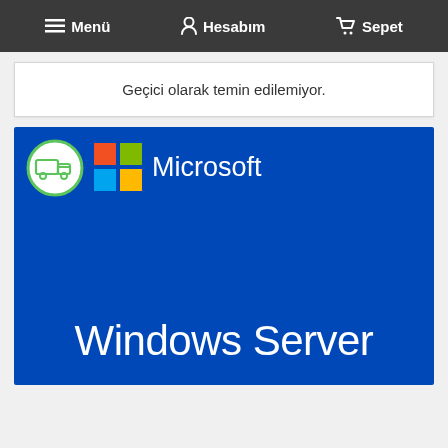≡ Menü  👤 Hesabım  🛒 Sepet
Geçici olarak temin edilemiyor.
[Figure (screenshot): Microsoft Windows Server product image on a blue background with Microsoft logo (colorful four-square grid) and a green delivery van badge in the top-left corner.]